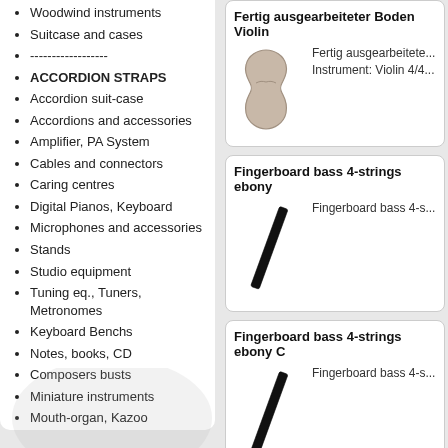Woodwind instruments
Suitcase and cases
------------------
ACCORDION STRAPS
Accordion suit-case
Accordions and accessories
Amplifier, PA System
Cables and connectors
Caring centres
Digital Pianos, Keyboard
Microphones and accessories
Stands
Studio equipment
Tuning eq., Tuners, Metronomes
Keyboard Benchs
Notes, books, CD
Composers busts
Miniature instruments
Mouth-organ, Kazoo
Sound improvement for stringins.
[Figure (illustration): Violin body outline, finished/worked bottom plate]
Fertig ausgearbeiteter Boden Violin
Fertig ausgearbeitete... Instrument: Violin 4/4...
[Figure (illustration): Fingerboard bass 4-strings ebony - diagonal black rod]
Fingerboard bass 4-strings ebony
Fingerboard bass 4-s...
[Figure (illustration): Fingerboard bass 4-strings ebony C - diagonal black rod]
Fingerboard bass 4-strings ebony C
Fingerboard bass 4-s...